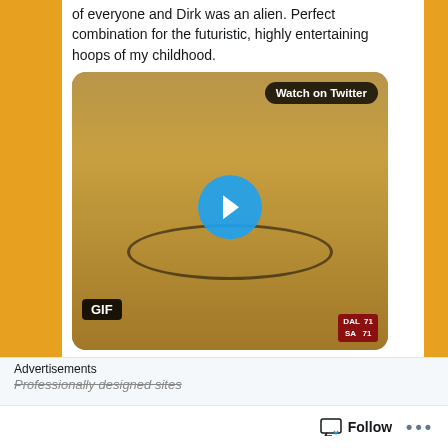of everyone and Dirk was an alien. Perfect combination for the futuristic, highly entertaining hoops of my childhood.
[Figure (screenshot): A GIF thumbnail of a basketball game (Dallas Mavericks vs Spurs), with a blue play button in the center, a 'Watch on Twitter' button in the top-right, a 'GIF' label in the bottom-left, and a scoreboard showing DAL 71 in the bottom-right corner.]
7:22 PM · May 3, 2018
83  Reply  Copy link
Read 5 replies
Advertisements
Professionally designed sites
Follow